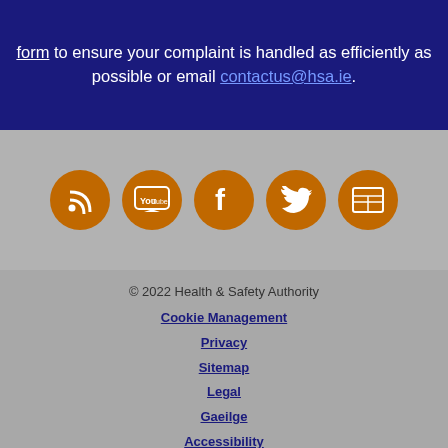form to ensure your complaint is handled as efficiently as possible or email contactus@hsa.ie.
[Figure (other): Row of five social media icon buttons (RSS, YouTube, Facebook, Twitter, Newsletter) rendered as orange circles on grey background]
© 2022 Health & Safety Authority
Cookie Management
Privacy
Sitemap
Legal
Gaeilge
Accessibility